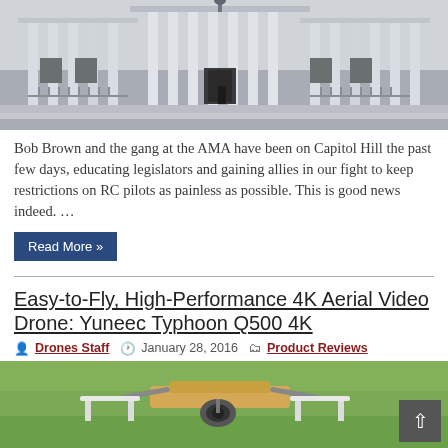[Figure (photo): Photograph of a neoclassical government building facade (resembling the US Capitol or similar), with tall white columns, ornate architecture, a lamp, and metal railings visible. Black and white/grey tones.]
Bob Brown and the gang at the AMA have been on Capitol Hill the past few days, educating legislators and gaining allies in our fight to keep restrictions on RC pilots as painless as possible. This is good news indeed. …
Read More »
Easy-to-Fly, High-Performance 4K Aerial Video Drone: Yuneec Typhoon Q500 4K
Drones Staff  January 28, 2016   Product Reviews
[Figure (photo): Close-up photograph of a drone (Yuneec Typhoon Q500 4K) with a gimbal and camera visible, set against a green grassy background.]